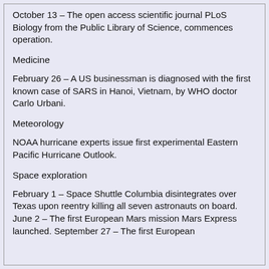October 13 – The open access scientific journal PLoS Biology from the Public Library of Science, commences operation.
Medicine
February 26 – A US businessman is diagnosed with the first known case of SARS in Hanoi, Vietnam, by WHO doctor Carlo Urbani.
Meteorology
NOAA hurricane experts issue first experimental Eastern Pacific Hurricane Outlook.
Space exploration
February 1 – Space Shuttle Columbia disintegrates over Texas upon reentry killing all seven astronauts on board. June 2 – The first European Mars mission Mars Express launched. September 27 – The first European